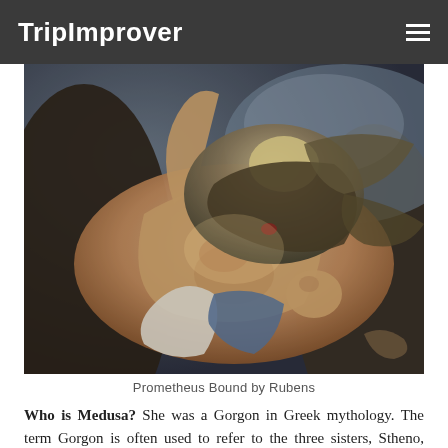TripImprover
[Figure (illustration): Prometheus Bound by Rubens — a classical oil painting depicting a muscular male figure chained to a rock being attacked by an eagle, rendered in dramatic Baroque style with warm earth tones.]
Prometheus Bound by Rubens
Who is Medusa? She was a Gorgon in Greek mythology. The term Gorgon is often used to refer to the three sisters, Stheno, Euryale, and Medusa, who looked...